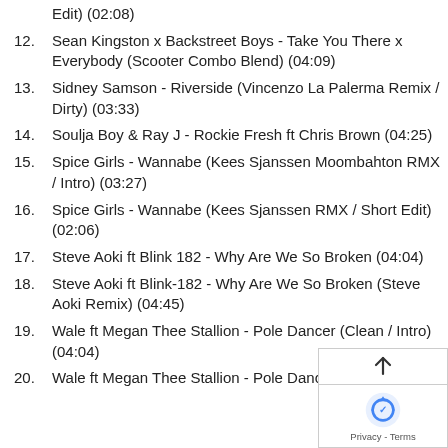Edit) (02:08)
12. Sean Kingston x Backstreet Boys - Take You There x Everybody (Scooter Combo Blend) (04:09)
13. Sidney Samson - Riverside (Vincenzo La Palerma Remix / Dirty) (03:33)
14. Soulja Boy & Ray J - Rockie Fresh ft Chris Brown (04:25)
15. Spice Girls - Wannabe (Kees Sjanssen Moombahton RMX / Intro) (03:27)
16. Spice Girls - Wannabe (Kees Sjanssen RMX / Short Edit) (02:06)
17. Steve Aoki ft Blink 182 - Why Are We So Broken (04:04)
18. Steve Aoki ft Blink-182 - Why Are We So Broken (Steve Aoki Remix) (04:45)
19. Wale ft Megan Thee Stallion - Pole Dancer (Clean / Intro) (04:04)
20. Wale ft Megan Thee Stallion - Pole Dancer ... Intro) (04:04)